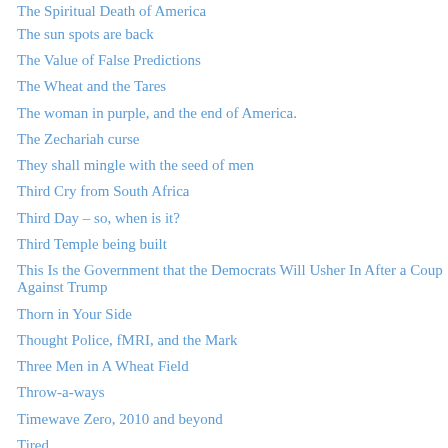The Spiritual Death of America
The sun spots are back
The Value of False Predictions
The Wheat and the Tares
The woman in purple, and the end of America.
The Zechariah curse
They shall mingle with the seed of men
Third Cry from South Africa
Third Day – so, when is it?
Third Temple being built
This Is the Government that the Democrats Will Usher In After a Coup Against Trump
Thorn in Your Side
Thought Police, fMRI, and the Mark
Three Men in A Wheat Field
Throw-a-ways
Timewave Zero, 2010 and beyond
Tired
Tisha B'Av 2014
Tithing for Christians and Jews – II